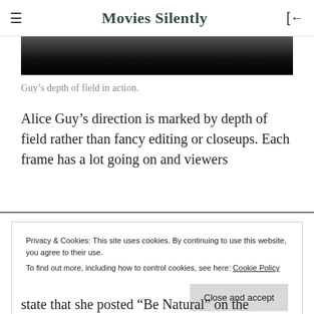Movies Silently
[Figure (photo): Black and white film still showing depth of field, figures in a dark scene]
Guy’s depth of field in action.
Alice Guy’s direction is marked by depth of field rather than fancy editing or closeups. Each frame has a lot going on and viewers
Privacy & Cookies: This site uses cookies. By continuing to use this website, you agree to their use.
To find out more, including how to control cookies, see here: Cookie Policy
state that she posted “Be Natural” on the